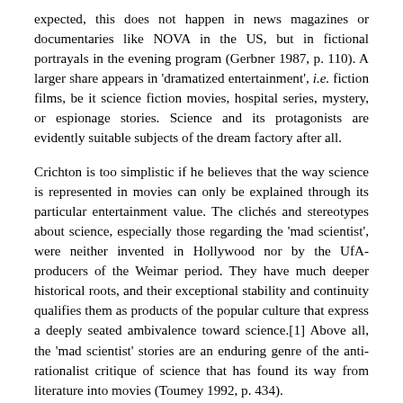expected, this does not happen in news magazines or documentaries like NOVA in the US, but in fictional portrayals in the evening program (Gerbner 1987, p. 110). A larger share appears in 'dramatized entertainment', i.e. fiction films, be it science fiction movies, hospital series, mystery, or espionage stories. Science and its protagonists are evidently suitable subjects of the dream factory after all.
Crichton is too simplistic if he believes that the way science is represented in movies can only be explained through its particular entertainment value. The clichés and stereotypes about science, especially those regarding the 'mad scientist', were neither invented in Hollywood nor by the UfA-producers of the Weimar period. They have much deeper historical roots, and their exceptional stability and continuity qualifies them as products of the popular culture that express a deeply seated ambivalence toward science.[1] Above all, the 'mad scientist' stories are an enduring genre of the anti-rationalist critique of science that has found its way from literature into movies (Toumey 1992, p. 434).
Although we have little doubt that movies and TV are exceptionally powerful media, we know next to nothing about their actual impact on the people's opinions and attitudes toward science. It is an open question if the form of popular